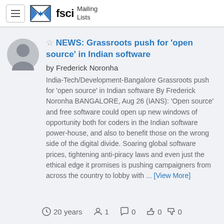fsci Mailing Lists
NEWS: Grassroots push for 'open source' in Indian software
by Frederick Noronha
India-Tech/Development-Bangalore Grassroots push for 'open source' in Indian software By Frederick Noronha BANGALORE, Aug 26 (IANS): 'Open source' and free software could open up new windows of opportunity both for coders in the Indian software power-house, and also to benefit those on the wrong side of the digital divide. Soaring global software prices, tightening anti-piracy laws and even just the ethical edge it promises is pushing campaigners from across the country to lobby with ... [View More]
20 years  1  0  0  0